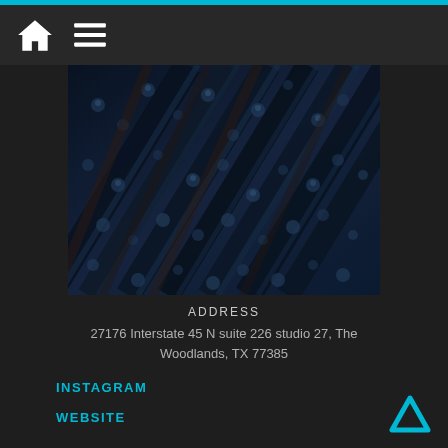Navigation bar with home icon and menu icon
[Figure (photo): Close-up photo of dark blue braided hair with intricate box braids texture]
ADDRESS
27176 Interstate 45 N suite 226 studio 27, The Woodlands, TX 77385
INSTAGRAM
WEBSITE